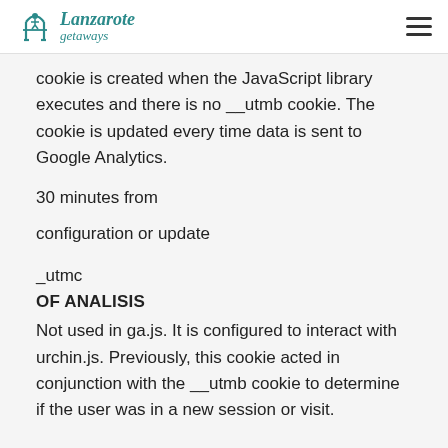Lanzarote getaways
cookie is created when the JavaScript library executes and there is no __utmb cookie. The cookie is updated every time data is sent to Google Analytics.
30 minutes from
configuration or update
_utmc
OF ANALISIS
Not used in ga.js. It is configured to interact with urchin.js. Previously, this cookie acted in conjunction with the __utmb cookie to determine if the user was in a new session or visit.